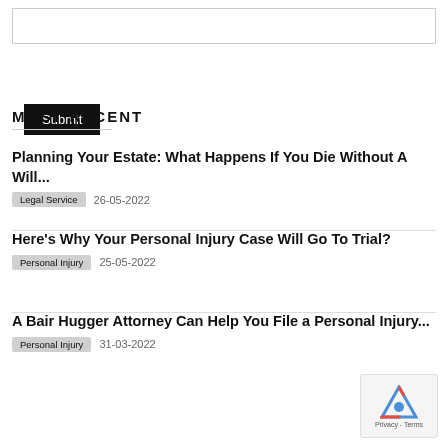[Search input box]
Submit
MOST RECENT
Planning Your Estate: What Happens If You Die Without A Will...
Legal Service   26-05-2022
Here's Why Your Personal Injury Case Will Go To Trial?
Personal Injury   25-05-2022
A Bair Hugger Attorney Can Help You File a Personal Injury...
Personal Injury   31-03-2022